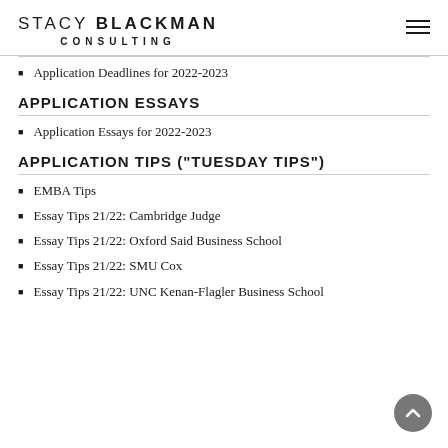STACY BLACKMAN CONSULTING
Application Deadlines for 2022-2023
APPLICATION ESSAYS
Application Essays for 2022-2023
APPLICATION TIPS ("TUESDAY TIPS")
EMBA Tips
Essay Tips 21/22: Cambridge Judge
Essay Tips 21/22: Oxford Said Business School
Essay Tips 21/22: SMU Cox
Essay Tips 21/22: UNC Kenan-Flagler Business School